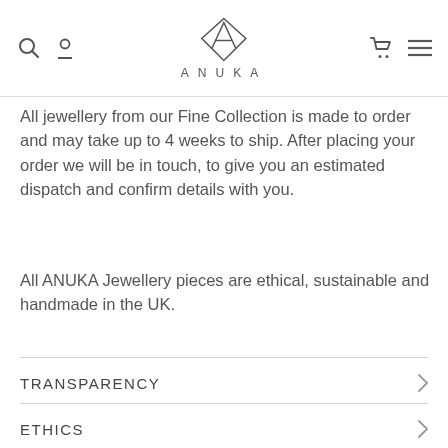ANUKA
All jewellery from our Fine Collection is made to order and may take up to 4 weeks to ship. After placing your order we will be in touch, to give you an estimated dispatch and confirm details with you.
All ANUKA Jewellery pieces are ethical, sustainable and handmade in the UK.
TRANSPARENCY
ETHICS